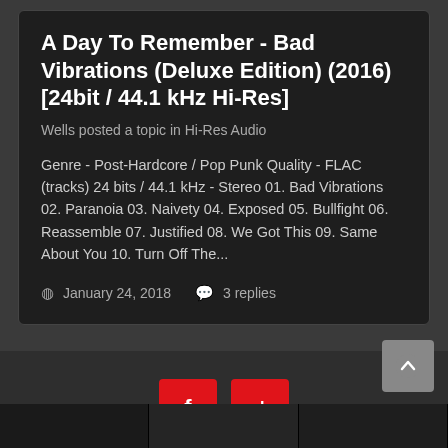A Day To Remember - Bad Vibrations (Deluxe Edition) (2016) [24bit / 44.1 kHz Hi-Res]
Wells posted a topic in Hi-Res Audio
Genre - Post-Hardcore / Pop Punk Quality - FLAC (tracks) 24 bits / 44.1 kHz - Stereo 01. Bad Vibrations 02. Paranoia 03. Naivety 04. Exposed 05. Bullfight 06. Reassemble 07. Justified 08. We Got This 09. Same About You 10. Turn Off The...
January 24, 2018   3 replies
[Figure (other): Red Facebook button with 'f' icon and red VK button with 'vk' icon]
Language ▼   Contact Us
Theme by Taman.